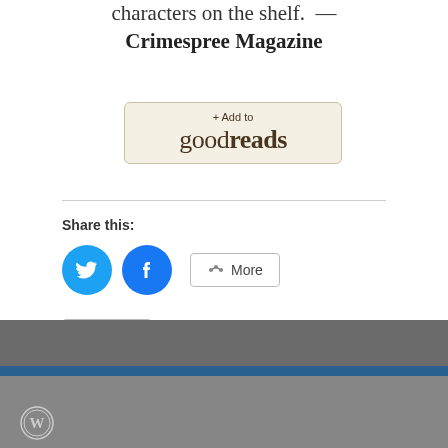characters on the shelf. — Crimespree Magazine
[Figure (logo): Goodreads +Add to goodreads button with beige rounded rectangle background]
Share this:
[Figure (infographic): Twitter bird icon circle button (blue), Facebook f icon circle button (blue), More share button with share icon]
[Figure (infographic): Like button with blue star icon]
Be the first to like this.
WordPress footer with dark grey background, blue stripe, and WordPress logo